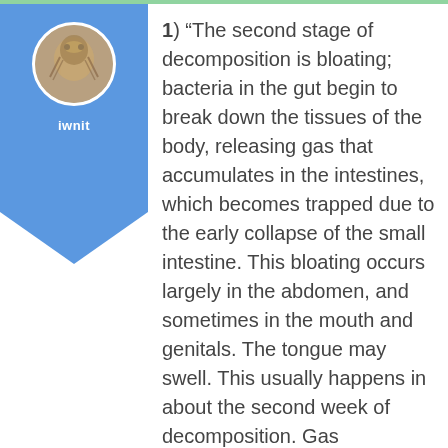[Figure (illustration): Blue arrow-shaped panel with circular avatar photo and username 'iwnit' below]
1) “The second stage of decomposition is bloating; bacteria in the gut begin to break down the tissues of the body, releasing gas that accumulates in the intestines, which becomes trapped due to the early collapse of the small intestine. This bloating occurs largely in the abdomen, and sometimes in the mouth and genitals. The tongue may swell. This usually happens in about the second week of decomposition. Gas accumulation and bloating will continue until the body is